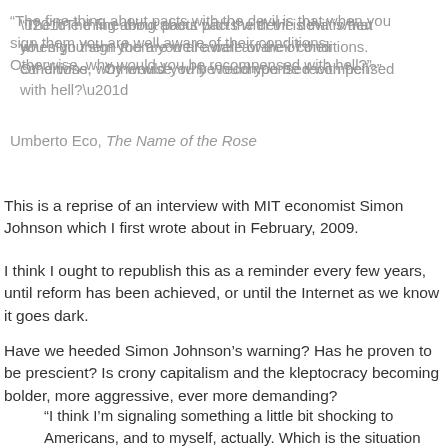“The fine thing about pacts with the devil is that when you sign them you are well aware of their conditions.   Otherwise, why would you be recompensed with hell?”
Umberto Eco, The Name of the Rose
This is a reprise of an interview with MIT economist Simon Johnson which I first wrote about in February, 2009.
I think I ought to republish this as a reminder every few years, until reform has been achieved, or until the Internet as we know it goes dark.
Have we heeded Simon Johnson’s warning? Has he proven to be prescient? Is crony capitalism and the kleptocracy becoming bolder, more aggressive, ever more demanding?
“I think I’m signaling something a little bit shocking to Americans, and to myself, actually. Which is the situation we find ourselves in at this